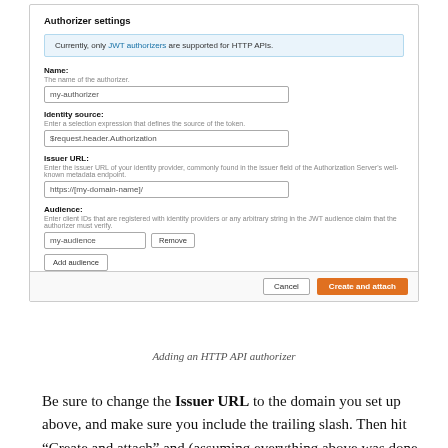[Figure (screenshot): AWS API Gateway Authorizer settings dialog showing fields: Name (my-authorizer), Identity source ($request.header.Authorization), Issuer URL (https://[my-domain-name]/), Audience (my-audience) with Remove button, Add audience button, and Cancel/Create and attach buttons. Info box: Currently, only JWT authorizers are supported for HTTP APIs.]
Adding an HTTP API authorizer
Be sure to change the Issuer URL to the domain you set up above, and make sure you include the trailing slash. Then hit “Create and attach” and (assuming everything above was done correctly), it should attach the authorizer.